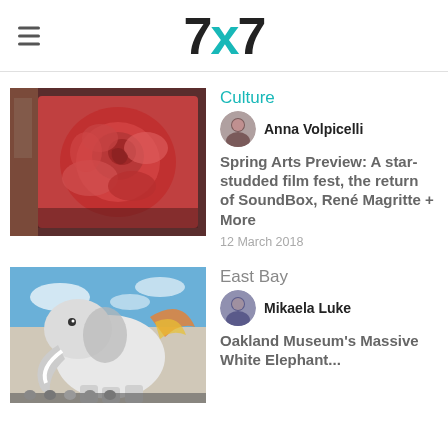7x7
[Figure (photo): Painting of a large red rose in a wooden frame, surrealist style (Magritte-like)]
Culture
Anna Volpicelli
Spring Arts Preview: A star-studded film fest, the return of SoundBox, René Magritte + More
12 March 2018
[Figure (photo): Mural of a massive white elephant painted on a building wall, with crowd below]
East Bay
Mikaela Luke
Oakland Museum's Massive White Elephant...